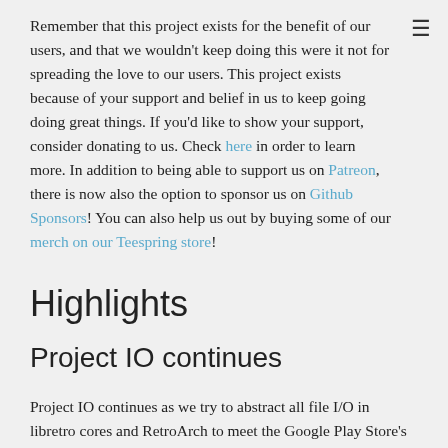Remember that this project exists for the benefit of our users, and that we wouldn't keep doing this were it not for spreading the love to our users. This project exists because of your support and belief in us to keep going doing great things. If you'd like to show your support, consider donating to us. Check here in order to learn more. In addition to being able to support us on Patreon, there is now also the option to sponsor us on Github Sponsors! You can also help us out by buying some of our merch on our Teespring store!
Highlights
Project IO continues
Project IO continues as we try to abstract all file I/O in libretro cores and RetroArch to meet the Google Play Store's new policies. Android 11/12 requires the use of the Storage